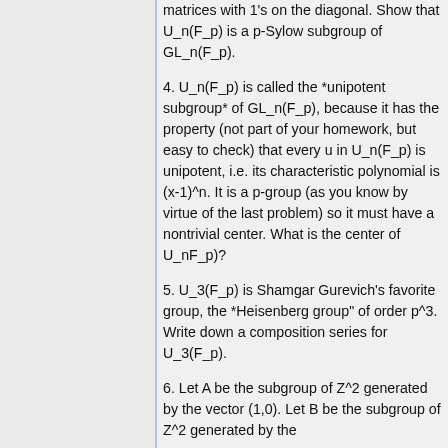matrices with 1's on the diagonal. Show that U_n(F_p) is a p-Sylow subgroup of GL_n(F_p).
4. U_n(F_p) is called the *unipotent subgroup* of GL_n(F_p), because it has the property (not part of your homework, but easy to check) that every u in U_n(F_p) is unipotent, i.e. its characteristic polynomial is (x-1)^n. It is a p-group (as you know by virtue of the last problem) so it must have a nontrivial center. What is the center of U_nF_p)?
5. U_3(F_p) is Shamgar Gurevich's favorite group, the *Heisenberg group" of order p^3. Write down a composition series for U_3(F_p).
6. Let A be the subgroup of Z^2 generated by the vector (1,0). Let B be the subgroup of Z^2 generated by the vector (2,3). Show that A and B...